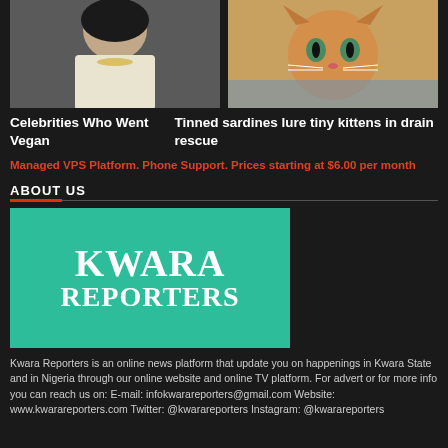[Figure (photo): Celebrity woman with dark hair, white jacket, gold necklaces]
Celebrities Who Went Vegan
[Figure (photo): Close-up of a small ginger kitten]
Tinned sardines lure tiny kittens in drain rescue
Managed VPS Platform. Phone Support. Prices starting at $6.00 per month
ABOUT US
[Figure (logo): Kwara Reporters logo — white bold text on teal/green background]
Kwara Reporters is an online news platform that update you on happenings in Kwara State and in Nigeria through our online website and online TV platform. For advert or for more info you can reach us on: E-mail: infokwarareporters@gmail.com Website: www.kwarareporters.com Twitter: @kwarareporters Instagram: @kwarareporters Hits: